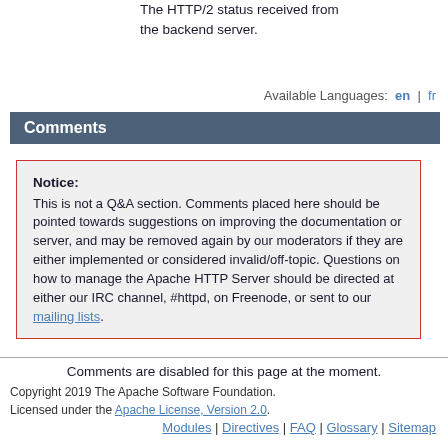The HTTP/2 status received from the backend server.
Available Languages: en | fr
Comments
Notice: This is not a Q&A section. Comments placed here should be pointed towards suggestions on improving the documentation or server, and may be removed again by our moderators if they are either implemented or considered invalid/off-topic. Questions on how to manage the Apache HTTP Server should be directed at either our IRC channel, #httpd, on Freenode, or sent to our mailing lists.
Comments are disabled for this page at the moment.
Copyright 2019 The Apache Software Foundation. Licensed under the Apache License, Version 2.0.
Modules | Directives | FAQ | Glossary | Sitemap